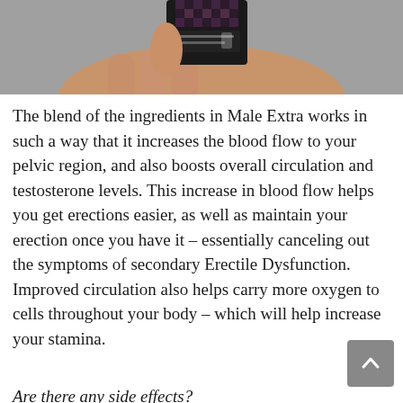[Figure (photo): A hand holding a dark bottle/container of Male Extra supplement, photographed against a grey background. The bottle has a dark label with small text.]
The blend of the ingredients in Male Extra works in such a way that it increases the blood flow to your pelvic region, and also boosts overall circulation and testosterone levels. This increase in blood flow helps you get erections easier, as well as maintain your erection once you have it – essentially canceling out the symptoms of secondary Erectile Dysfunction. Improved circulation also helps carry more oxygen to cells throughout your body – which will help increase your stamina.
Are there any side effects?